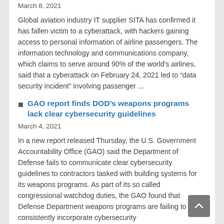March 8, 2021
Global aviation industry IT supplier SITA has confirmed it has fallen victim to a cyberattack, with hackers gaining access to personal information of airline passengers. The information technology and communications company, which claims to serve around 90% of the world's airlines, said that a cyberattack on February 24, 2021 led to “data security incident” involving passenger ...
GAO report finds DOD’s weapons programs lack clear cybersecurity guidelines
March 4, 2021
In a new report released Thursday, the U.S. Government Accountability Office (GAO) said the Department of Defense fails to communicate clear cybersecurity guidelines to contractors tasked with building systems for its weapons programs. As part of its so called congressional watchdog duties, the GAO found that Defense Department weapons programs are failing to consistently incorporate cybersecurity...